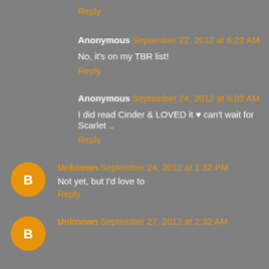Reply
Anonymous  September 22, 2012 at 6:22 AM
No, it's on my TBR list!
Reply
Anonymous  September 24, 2012 at 8:03 AM
I did read Cinder & LOVED it ♥ can't wait for Scarlet ..
Reply
Unknown  September 24, 2012 at 1:32 PM
Not yet, but I'd love to
Reply
Unknown  September 27, 2012 at 2:32 AM